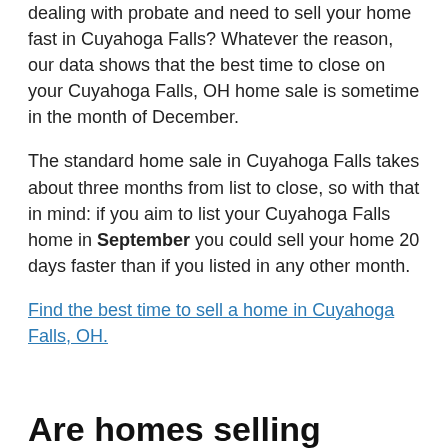dealing with probate and need to sell your home fast in Cuyahoga Falls? Whatever the reason, our data shows that the best time to close on your Cuyahoga Falls, OH home sale is sometime in the month of December.
The standard home sale in Cuyahoga Falls takes about three months from list to close, so with that in mind: if you aim to list your Cuyahoga Falls home in September you could sell your home 20 days faster than if you listed in any other month.
Find the best time to sell a home in Cuyahoga Falls, OH.
Are homes selling faster in Cuyahoga Falls this year than last year?